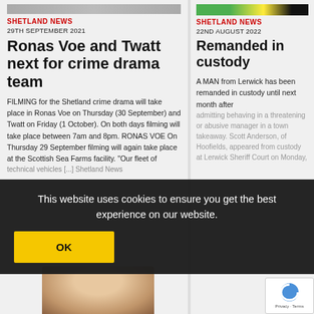[Figure (photo): Partial image strip at top of left column]
SHETLAND NEWS
29TH SEPTEMBER 2021
Ronas Voe and Twatt next for crime drama team
FILMING for the Shetland crime drama will take place in Ronas Voe on Thursday (30 September) and Twatt on Friday (1 October). On both days filming will take place between 7am and 8pm. RONAS VOE On Thursday 29 September filming will again take place at the Scottish Sea Farms facility. "Our fleet of technical vehicles [...] Shetland News
[Figure (photo): Partial image strip at top of right column, with green/yellow/black colors]
SHETLAND NEWS
22ND AUGUST 2022
Remanded in custody
A MAN from Lerwick has been remanded in custody until next month after admitting behaving in a threatening or abusive manager in a town takeaway. Scott Anderson, of Hoofields, appeared from custody at Lerwick Sheriff Court on Monday,
This website uses cookies to ensure you get the best experience on our website.
OK